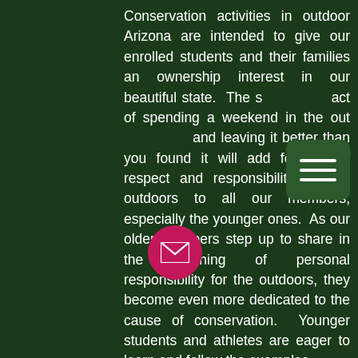Conservation activities in outdoor Arizona are intended to give our enrolled students and their families an ownership interest in our beautiful state.  The simple act of spending a weekend in the outdoors and leaving it better than you found it will add feelings of respect and responsibility for the outdoors to all our members, especially the younger ones.  As our older members step up to share in the teaching of personal responsibility for the outdoors, they become even more dedicated to the cause of conservation.  Younger students and athletes are eager to learn and follow the examples.

AOS has lots of benefit for students. Scholastic Clay Target Program (SCTP) is a school year program of never ending skill building in shotgun sports of all levels. This very safe sport offers a lifetime of